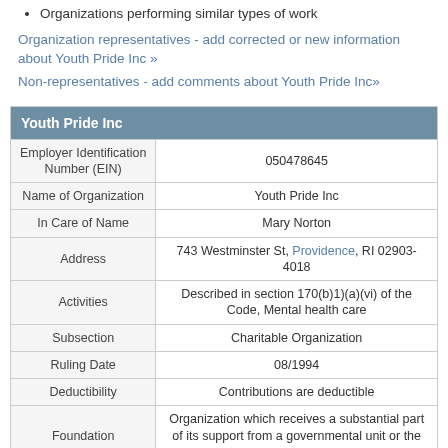Organizations performing similar types of work
Organization representatives - add corrected or new information about Youth Pride Inc »
Non-representatives - add comments about Youth Pride Inc»
| Youth Pride Inc |
| --- |
| Employer Identification Number (EIN) | 050478645 |
| Name of Organization | Youth Pride Inc |
| In Care of Name | Mary Norton |
| Address | 743 Westminster St, Providence, RI 02903-4018 |
| Activities | Described in section 170(b)1)(a)(vi) of the Code, Mental health care |
| Subsection | Charitable Organization |
| Ruling Date | 08/1994 |
| Deductibility | Contributions are deductible |
| Foundation | Organization which receives a substantial part of its support from a governmental unit or the general public |
| Organization | Corporation |